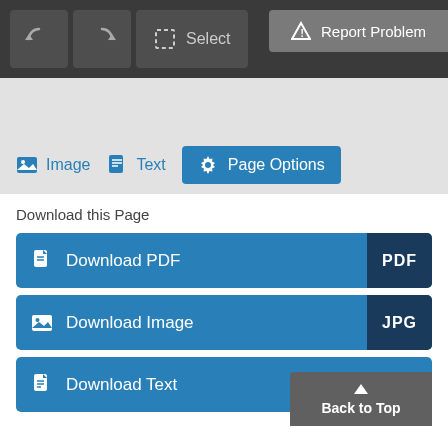[Figure (screenshot): Dark toolbar with two rotation buttons, a Select button, and a Report Problem button on the right]
[Figure (screenshot): Tab bar with Image, Text, and active Page Options tabs on light gray background]
Download this Page
[Figure (screenshot): Download PDF button with PDF badge]
[Figure (screenshot): Download Image button with JPG badge]
[Figure (screenshot): Download Text button with Back to Top overlay button]